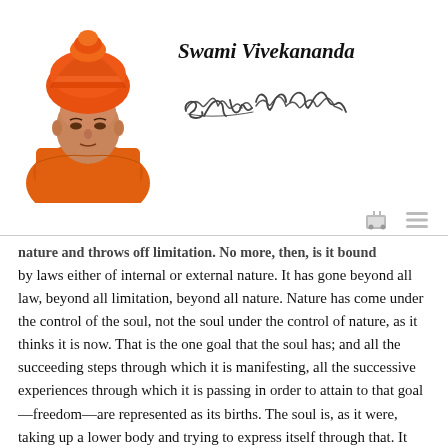[Figure (illustration): Portrait illustration of Swami Vivekananda wearing orange robes and turban, shown from waist up]
Swami Vivekananda
[Figure (illustration): Handwritten cursive signature of Swami Vivekananda]
nature and throws off limitation. No more, then, is it bound by laws either of internal or external nature. It has gone beyond all law, beyond all limitation, beyond all nature. Nature has come under the control of the soul, not the soul under the control of nature, as it thinks it is now. That is the one goal that the soul has; and all the succeeding steps through which it is manifesting, all the successive experiences through which it is passing in order to attain to that goal—freedom—are represented as its births. The soul is, as it were, taking up a lower body and trying to express itself through that. It finds that to be insufficient, there it...